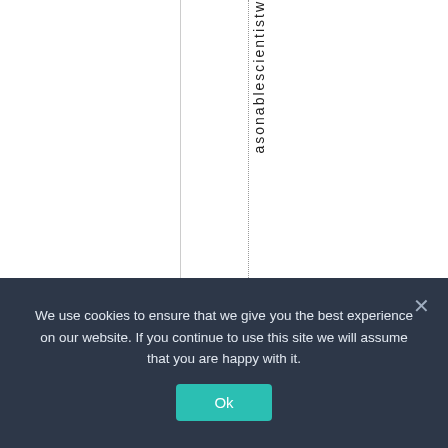asonablescientistw
We use cookies to ensure that we give you the best experience on our website. If you continue to use this site we will assume that you are happy with it.